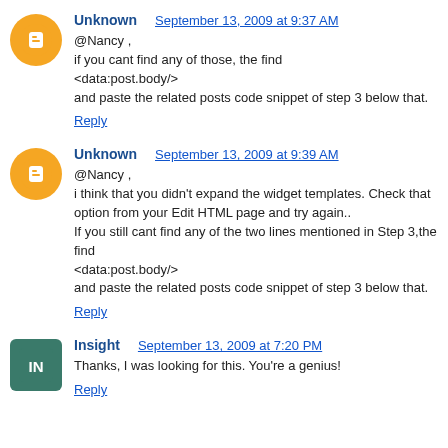Unknown   September 13, 2009 at 9:37 AM
@Nancy ,
if you cant find any of those, the find
<data:post.body/>
and paste the related posts code snippet of step 3 below that.
Reply
Unknown   September 13, 2009 at 9:39 AM
@Nancy ,
i think that you didn't expand the widget templates. Check that option from your Edit HTML page and try again..
If you still cant find any of the two lines mentioned in Step 3,the find
<data:post.body/>
and paste the related posts code snippet of step 3 below that.
Reply
Insight   September 13, 2009 at 7:20 PM
Thanks, I was looking for this. You're a genius!
Reply